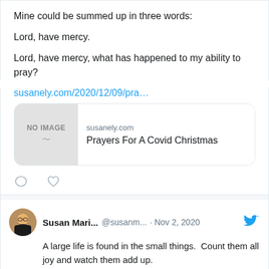Mine could be summed up in three words:

Lord, have mercy.

Lord, have mercy, what has happened to my ability to pray?
susanely.com/2020/12/09/pra…
[Figure (screenshot): Link preview card showing 'NO IMAGE' placeholder on left and susanely.com / Prayers For A Covid Christmas on right]
[Figure (other): Tweet action icons: comment bubble and heart]
Susan Mari... @susanm... · Nov 2, 2020
A large life is found in the small things.  Count them all joy and watch them add up. susanely.com/2018/11/08/whe… via @susanmariniely